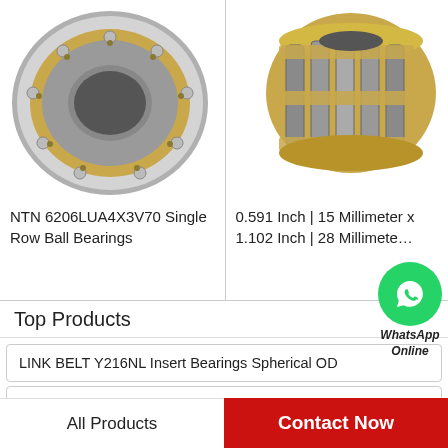[Figure (photo): NTN cylindrical roller bearing with brass cage, front view showing inner ring and rolling elements]
NTN 6206LUA4X3V70 Single Row Ball Bearings
[Figure (photo): Cylindrical roller bearing with gold/brass colored cage, angled view showing rollers and cage detail]
0.591 Inch | 15 Millimeter x 1.102 Inch | 28 Millimete…
[Figure (other): WhatsApp Online button with green phone icon]
Top Products
LINK BELT Y216NL Insert Bearings Spherical OD
NTN 6010LLU/5C Single Row Ball Bearings
Vickers FPV10-12D-U-10 Proportional Cartridge
All Products
Contact Now